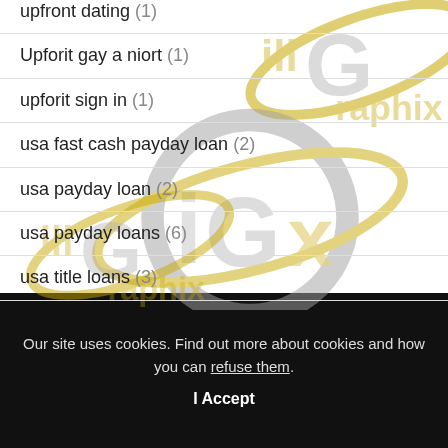upfront dating (1)
Upforit gay a niort (1)
upforit sign in (1)
usa fast cash payday loan (2)
usa payday loan (2)
usa payday loans (6)
usa title loans (3)
[Figure (logo): illGraphix watermark logo overlaid on list content — metallic silver and gold 'iGx' and 'illGraphix' stylized text logo appearing twice across the content area]
Our site uses cookies. Find out more about cookies and how you can refuse them.

I Accept